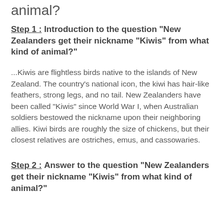animal?
Step 1 : Introduction to the question "New Zealanders get their nickname “Kiwis” from what kind of animal?"
...Kiwis are flightless birds native to the islands of New Zealand. The country's national icon, the kiwi has hair-like feathers, strong legs, and no tail. New Zealanders have been called "Kiwis" since World War I, when Australian soldiers bestowed the nickname upon their neighboring allies. Kiwi birds are roughly the size of chickens, but their closest relatives are ostriches, emus, and cassowaries.
Step 2 : Answer to the question "New Zealanders get their nickname “Kiwis” from what kind of animal?"